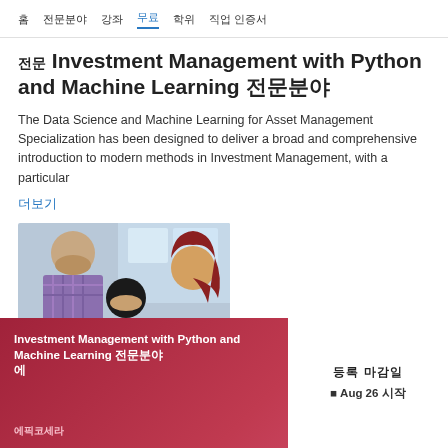홈  전문분야  강좌  무료 강좌  학위  직업 인증서
전문 Investment Management with Python and Machine Learning 전문분야
The Data Science and Machine Learning for Asset Management Specialization has been designed to deliver a broad and comprehensive introduction to modern methods in Investment Management, with a particular
더보기
[Figure (photo): Two people studying or working together, viewed from above/behind]
Investment Management with Python and Machine Learning 전문분야
에픽코세라
등록 마감일
￼ Aug 26 시작